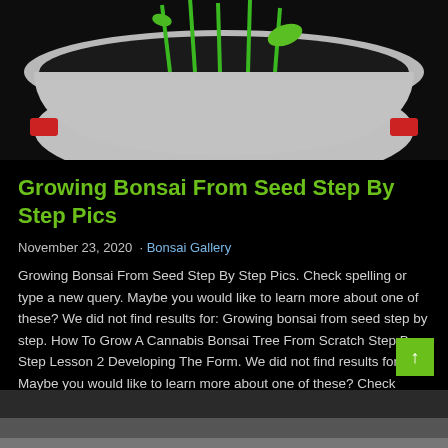[Figure (photo): Close-up photo of a white ceramic pot with small green seedlings/sprouts growing from dark soil, shot from above against a dark background with red decorative elements on the pot]
Growing Bonsai From Seed Step By Step Pics
November 23, 2020 · Bonsai Gallery
Growing Bonsai From Seed Step By Step Pics. Check spelling or type a new query. Maybe you would like to learn more about one of these? We did not find results for: Growing bonsai from seed step by step. How To Grow A Cannabis Bonsai Tree From Scratch Step By Step Lesson 2 Developing The Form. We did not find results for: Maybe you would like to learn more about one of these? Check spelling or type a new query....
[Figure (photo): Partial view of another image at the bottom of the page, appears dark/grey]